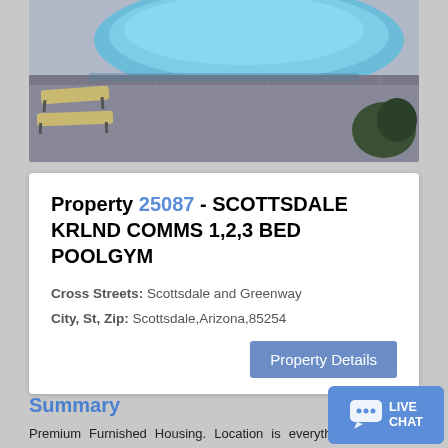[Figure (photo): Outdoor pool area with lounge chairs and pool deck, viewed from above. Blue pool water visible at top with grey/purple toned concrete deck and lounge chairs on the left side.]
Property 25087 - SCOTTSDALE KRLND COMMS 1,2,3 BED POOLGYM
Cross Streets: Scottsdale and Greenway
City, St, Zip: Scottsdale,Arizona,85254
Property Details
Summary
Premium Furnished Housing. Location is everything! Enjoy the adjacent golf course and walk to Scottsdale Quarter and Kierland Commons for shopping and restaurants. These one two and three bedroom furnished apart... kitchens with stainless ...
Read More